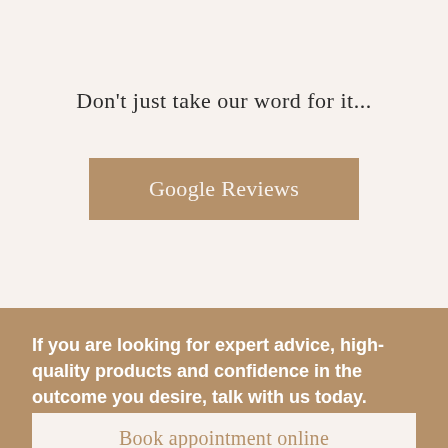Don't just take our word for it...
Google Reviews
If you are looking for expert advice, high-quality products and confidence in the outcome you desire, talk with us today.
Book appointment online